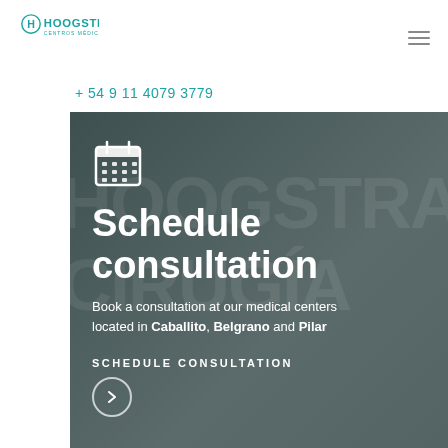[Figure (logo): Hoogstra Centros Médicos logo with stylized icon above text]
+ 54 9 11 4079 3779
[Figure (photo): Dark overlay panel showing a medical center building facade with text overlay for scheduling a consultation]
Schedule consultation
Book a consultation at our medical centers located in Caballito, Belgrano and Pilar
SCHEDULE CONSULTATION